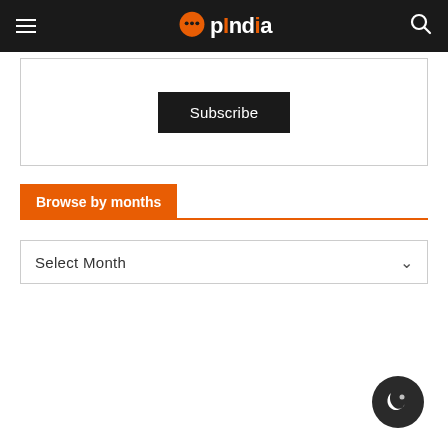OpIndia
[Figure (screenshot): Subscribe button inside a bordered box]
Browse by months
[Figure (screenshot): Select Month dropdown selector]
[Figure (infographic): Dark mode toggle button (moon icon) in bottom right corner]